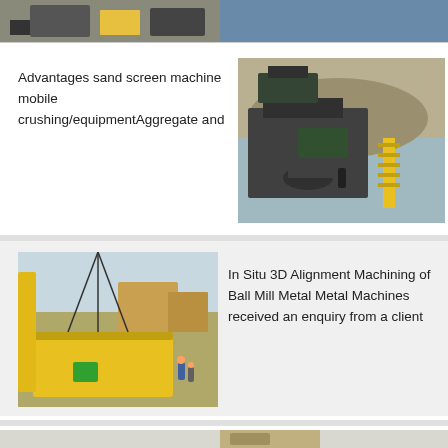[Figure (photo): Partial view of industrial crushing/mining machinery at top of page]
Advantages sand screen machine mobile crushing/equipmentAggregate and
[Figure (photo): Industrial sand screening machine / mobile crushing equipment at a quarry or mining site]
[Figure (photo): Yellow metal container being lifted by crane, with workers visible]
In Situ 3D Alignment Machining of Ball Mill Metal Metal Machines received an enquiry from a client
[Figure (photo): Partial view of industrial equipment at bottom of page]